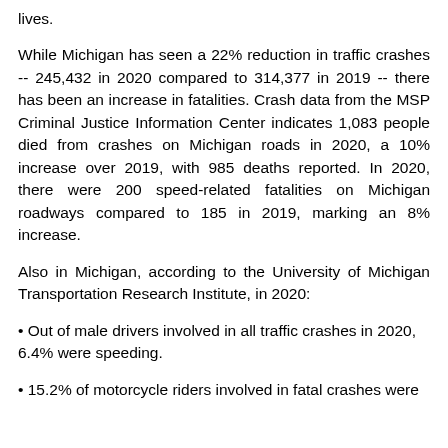lives.
While Michigan has seen a 22% reduction in traffic crashes -- 245,432 in 2020 compared to 314,377 in 2019 -- there has been an increase in fatalities. Crash data from the MSP Criminal Justice Information Center indicates 1,083 people died from crashes on Michigan roads in 2020, a 10% increase over 2019, with 985 deaths reported. In 2020, there were 200 speed-related fatalities on Michigan roadways compared to 185 in 2019, marking an 8% increase.
Also in Michigan, according to the University of Michigan Transportation Research Institute, in 2020:
• Out of male drivers involved in all traffic crashes in 2020, 6.4% were speeding.
• 15.2% of motorcycle riders involved in fatal crashes were